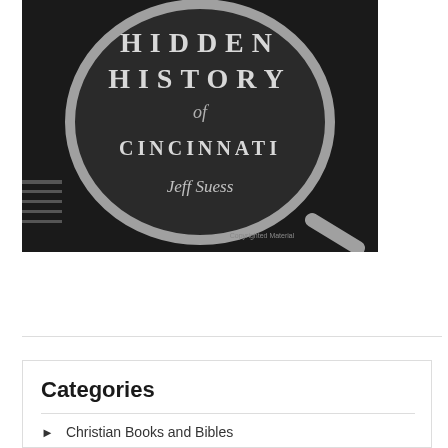[Figure (illustration): Book cover of 'Hidden History of Cincinnati' by Jeff Suess. Dark background with a magnifying glass revealing the title text. HIDDEN HISTORY of CINCINNATI in large serif letters, Jeff Suess in italic script below. A watermark reads 'Copyrighted Material'.]
Hidden History of Cincinnati pdf
Categories
Christian Books and Bibles